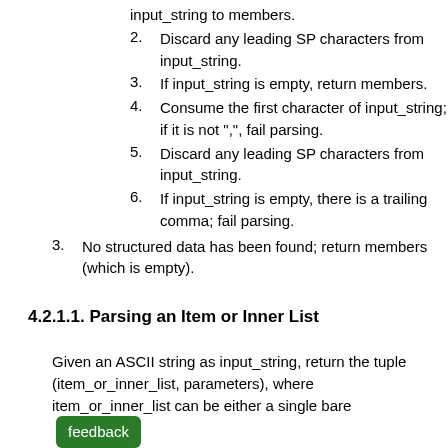input_string to members.
2. Discard any leading SP characters from input_string.
3. If input_string is empty, return members.
4. Consume the first character of input_string; if it is not ",", fail parsing.
5. Discard any leading SP characters from input_string.
6. If input_string is empty, there is a trailing comma; fail parsing.
3. No structured data has been found; return members (which is empty).
4.2.1.1. Parsing an Item or Inner List
Given an ASCII string as input_string, return the tuple (item_or_inner_list, parameters), where item_or_inner_list can be either a single bare array of (bare_item, parameters) tuples. input_string is